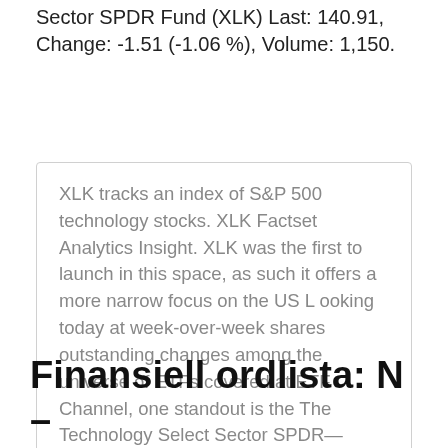Sector SPDR Fund (XLK) Last: 140.91, Change: -1.51 (-1.06 %), Volume: 1,150.
XLK tracks an index of S&P 500 technology stocks. XLK Factset Analytics Insight. XLK was the first to launch in this space, as such it offers a more narrow focus on the US L ooking today at week-over-week shares outstanding changes among the universe of ETFs covered at ETF Channel, one standout is the The Technology Select Sector SPDR— Fund (Symbol: XLK) where we
Finansiell ordlista: N –